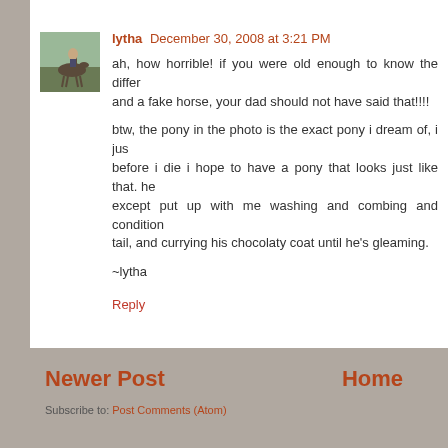[Figure (photo): Small avatar photo of a person on a horse outdoors]
lytha  December 30, 2008 at 3:21 PM
ah, how horrible! if you were old enough to know the difference between a real and a fake horse, your dad should not have said that!!!!
btw, the pony in the photo is the exact pony i dream of, i just love that color. before i die i hope to have a pony that looks just like that. he doesn't have to do anything except put up with me washing and combing and conditioning his mane and tail, and currying his chocolaty coat until he's gleaming.
~lytha
Reply
Newer Post   Home   Subscribe to: Post Comments (Atom)